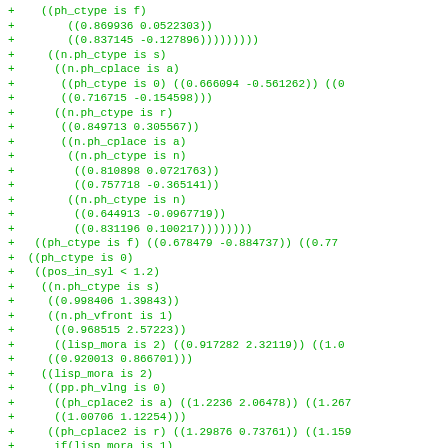+    ((ph_ctype is f)
+        ((0.869936 0.0522303))
+        ((0.837145 -0.127896)))))))))
+     ((n.ph_ctype is s)
+      ((n.ph_cplace is a)
+       ((ph_ctype is 0) ((0.666094 -0.561262)) ((0
+       ((0.716715 -0.154598)))
+      ((n.ph_ctype is r)
+       ((0.849713 0.305567))
+       ((n.ph_cplace is a)
+        ((n.ph_ctype is n)
+         ((0.810898 0.0721763))
+         ((0.757718 -0.365141))
+        ((n.ph_ctype is n)
+         ((0.644913 -0.0967719))
+         ((0.831196 0.100217)))))))))
+   ((ph_ctype is f) ((0.678479 -0.884737)) ((0.77
+  ((ph_ctype is 0)
+   ((pos_in_syl < 1.2)
+    ((n.ph_ctype is s)
+     ((0.998406 1.39843))
+     ((n.ph_vfront is 1)
+      ((0.968515 2.57223))
+      ((lisp_mora is 2) ((0.917282 2.32119)) ((1.0
+     ((0.920013 0.866701)))
+    ((lisp_mora is 2)
+     ((pp.ph_vlng is 0)
+      ((ph_cplace2 is a) ((1.2236 2.06478)) ((1.267
+      ((1.00706 1.12254)))
+     ((ph_cplace2 is r) ((1.29876 0.73761)) ((1.159
+      if(lisp_mora is 1)